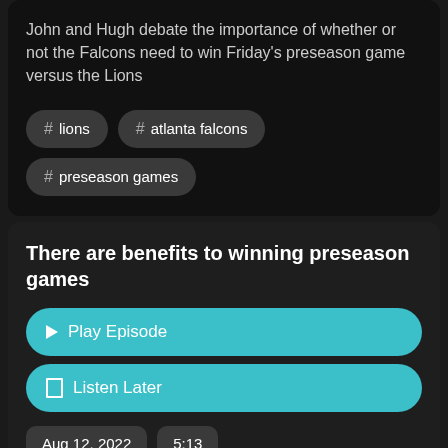John and Hugh debate the importance of whether or not the Falcons need to win Friday's preseason game versus the Lions
# lions
# atlanta falcons
# preseason games
There are benefits to winning preseason games
Play Episode
Listen Later
Aug 12, 2022
5:13